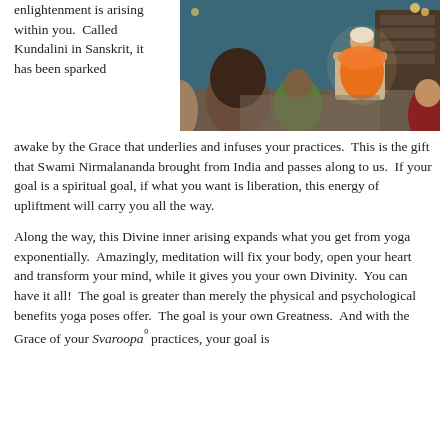enlightenment is arising within you.  Called Kundalini in Sanskrit, it has been sparked awake by the Grace that underlies and infuses your practices.  This is the gift that Swami Nirmalananda brought from India and passes along to us.  If your goal is a spiritual goal, if what you want is liberation, this energy of upliftment will carry you all the way.
[Figure (photo): A group of people sitting in a circle during what appears to be a yoga or spiritual gathering. A person dressed in orange robes sits in a chair at the far side, speaking or teaching to the group. The setting is a cozy indoor room with candles and bookshelves visible.]
Along the way, this Divine inner arising expands what you get from yoga exponentially.  Amazingly, meditation will fix your body, open your heart and transform your mind, while it gives you your own Divinity.  You can have it all!  The goal is greater than merely the physical and psychological benefits yoga poses offer.  The goal is your own Greatness.  And with the Grace of your Svaroopa⁰ practices, your goal is